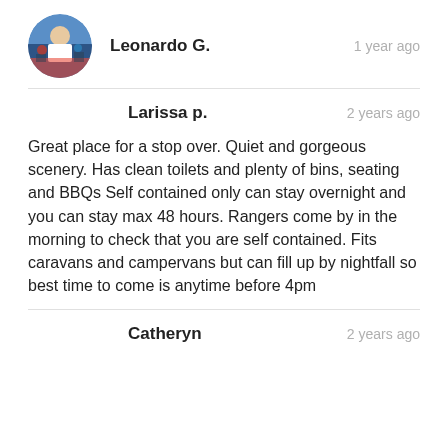[Figure (photo): Circular profile photo of Leonardo G., showing a person at an outdoor event with people in background]
Leonardo G.
1 year ago
Larissa p.
2 years ago
Great place for a stop over. Quiet and gorgeous scenery. Has clean toilets and plenty of bins, seating and BBQs Self contained only can stay overnight and you can stay max 48 hours. Rangers come by in the morning to check that you are self contained. Fits caravans and campervans but can fill up by nightfall so best time to come is anytime before 4pm
Catheryn
2 years ago